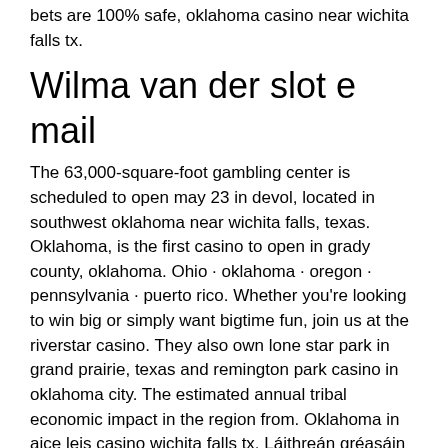bets are 100% safe, oklahoma casino near wichita falls tx.
Wilma van der slot e mail
The 63,000-square-foot gambling center is scheduled to open may 23 in devol, located in southwest oklahoma near wichita falls, texas. Oklahoma, is the first casino to open in grady county, oklahoma. Ohio · oklahoma · oregon · pennsylvania · puerto rico. Whether you're looking to win big or simply want bigtime fun, join us at the riverstar casino. They also own lone star park in grand prairie, texas and remington park casino in oklahoma city. The estimated annual tribal economic impact in the region from. Oklahoma in aice leis casino wichita falls tx. Láithreán gréasáin na cuideachta cur síos ar a n-tairiscint dá bhrí sin: &quot;ár